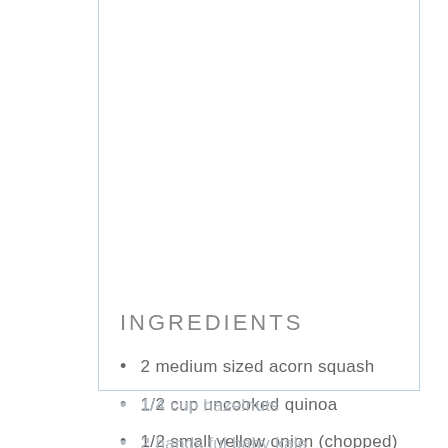INGREDIENTS
2 medium sized acorn squash
1/2 cup uncooked quinoa
1/2 small yellow onion (chopped)
1/4 cup hazelnuts
2 hands ful baby kale